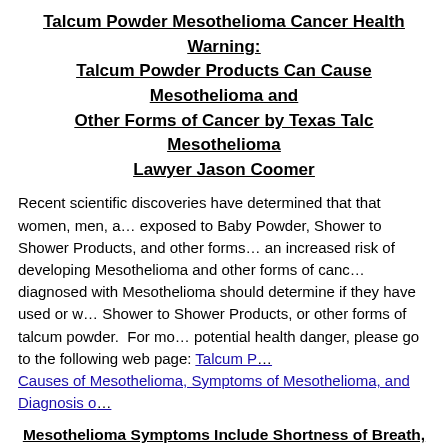Talcum Powder Mesothelioma Cancer Health Warning: Talcum Powder Products Can Cause Mesothelioma and Other Forms of Cancer by Texas Talc Mesothelioma Lawyer Jason Coomer
Recent scientific discoveries have determined that that women, men, and children exposed to Baby Powder, Shower to Shower Products, and other forms of talcum powder have an increased risk of developing Mesothelioma and other forms of cancer.  Anyone diagnosed with Mesothelioma should determine if they have used or were exposed to Baby Powder, Shower to Shower Products, or other forms of talcum powder.  For more information on this potential health danger, please go to the following web page: Talcum P... Causes of Mesothelioma, Symptoms of Mesothelioma, and Diagnosis o...
Mesothelioma Symptoms Include Shortness of Breath, Persi... Swallowing, Fever, Blood in Sputum, and Nigh...
Symptoms of mesothelioma can appear 20 to 50 years after exposure... symptoms include shortness of breath, chronic cough, coughing up blo... the chest due to an accumulation of fluid in the pleural space are often... mesothelioma.  Symptoms of peritoneal mesothelioma include weight l... swelling and pain due to ascites (a buildup of fluid in the abdominal...